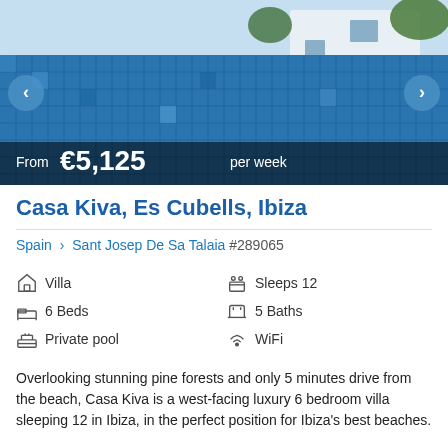[Figure (photo): Aerial/overhead view of a blue mosaic tiled swimming pool with a white villa building and greenery visible, with navigation arrows and price overlay]
Casa Kiva, Es Cubells, Ibiza
Spain > Sant Josep De Sa Talaia #289065
Villa
Sleeps 12
6 Beds
5 Baths
Private pool
WiFi
Overlooking stunning pine forests and only 5 minutes drive from the beach, Casa Kiva is a west-facing luxury 6 bedroom villa sleeping 12 in Ibiza, in the perfect position for Ibiza's best beaches.